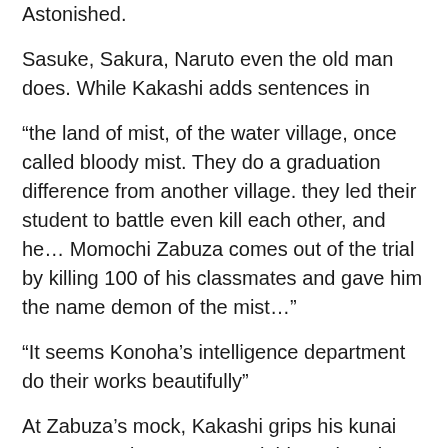Astonished.
Sasuke, Sakura, Naruto even the old man does. While Kakashi adds sentences in
“the land of mist, of the water village, once called bloody mist. They do a graduation difference from another village. they led their student to battle even kill each other, and he… Momochi Zabuza comes out of the trial by killing 100 of his classmates and gave him the name demon of the mist…”
“It seems Konoha’s intelligence department do their works beautifully”
At Zabuza’s mock, Kakashi grips his kunai stronger and move to attack him only to be intercepted.
Swish
St
[Figure (other): Dark rounded square icon with a crescent moon symbol]
The needle pierces through Zabuza’s neck and killed him on